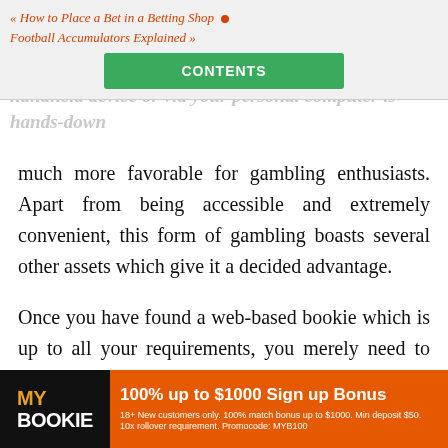« How to Place a Bet in a Betting Shop • Football Accumulators Explained » [CONTENTS button]
much more favorable for gambling enthusiasts. Apart from being accessible and extremely convenient, this form of gambling boasts several other assets which give it a decided advantage.
Once you have found a web-based bookie which is up to all your requirements, you merely need to establish an account which in most cases takes only a few minutes. After you have had the registration process
[Figure (infographic): MyBookie advertisement banner: '100% up to $1000 Sign up Bonus. 18+ New customers only. 100% match bonus up to $1000. Min deposit $50. 10x rollover requirement. Promocode: MYB100']